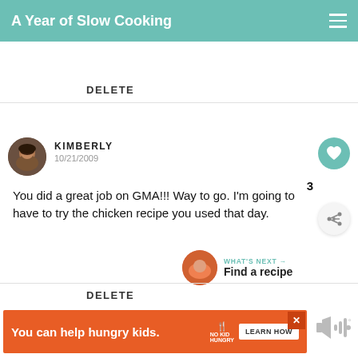A Year of Slow Cooking
DELETE
KIMBERLY
10/21/2009
You did a great job on GMA!!! Way to go. I'm going to have to try the chicken recipe you used that day.
DELETE
You can help hungry kids. NO KID HUNGRY LEARN HOW